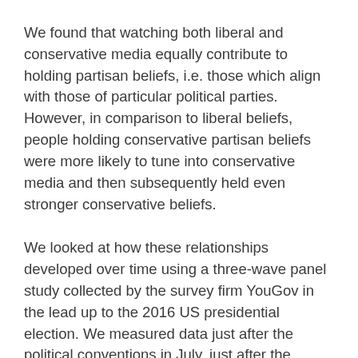We found that watching both liberal and conservative media equally contribute to holding partisan beliefs, i.e. those which align with those of particular political parties. However, in comparison to liberal beliefs, people holding conservative partisan beliefs were more likely to tune into conservative media and then subsequently held even stronger conservative beliefs.
We looked at how these relationships developed over time using a three-wave panel study collected by the survey firm YouGov in the lead up to the 2016 US presidential election. We measured data just after the political conventions in July, just after the Presidential debates in October, and the week before the general election. During each wave we asked